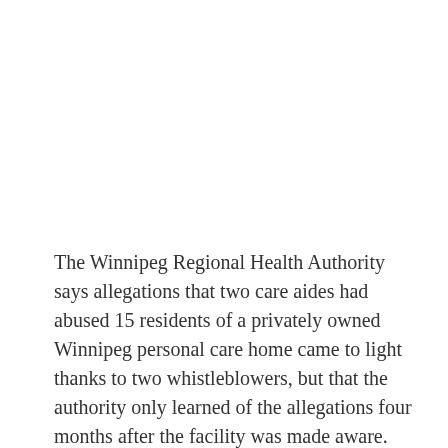The Winnipeg Regional Health Authority says allegations that two care aides had abused 15 residents of a privately owned Winnipeg personal care home came to light thanks to two whistleblowers, but that the authority only learned of the allegations four months after the facility was made aware.